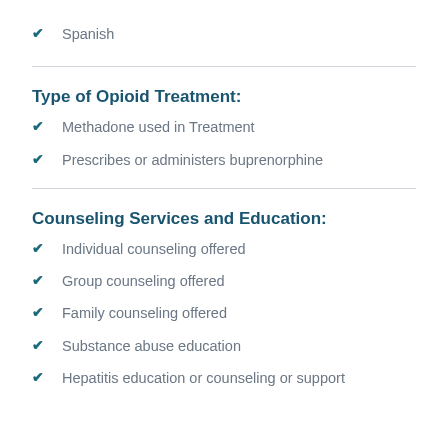Spanish
Type of Opioid Treatment:
Methadone used in Treatment
Prescribes or administers buprenorphine
Counseling Services and Education:
Individual counseling offered
Group counseling offered
Family counseling offered
Substance abuse education
Hepatitis education or counseling or support